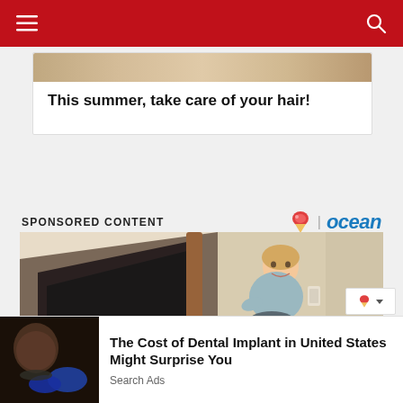Navigation bar with hamburger menu and search icon
This summer, take care of your hair!
SPONSORED CONTENT
[Figure (photo): Woman sitting on a stairlift on a carpeted staircase inside a home, smiling at the camera. The staircase has a dark patterned carpet runner and wooden banister.]
[Figure (photo): Small advertisement widget with an icon and dropdown arrow]
[Figure (photo): Thumbnail image showing a bald person at a dental procedure]
The Cost of Dental Implant in United States Might Surprise You
Search Ads